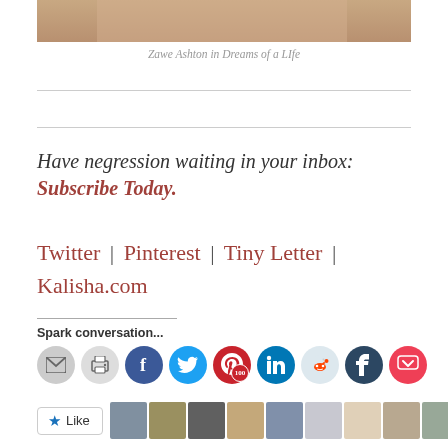[Figure (photo): Partial photo of Zawe Ashton in Dreams of a Life — bottom portion showing legs on a couch]
Zawe Ashton in Dreams of a LIfe
Have negression waiting in your inbox: Subscribe Today.
Twitter | Pinterest | Tiny Letter | Kalisha.com
Spark conversation...
[Figure (infographic): Row of social share icon buttons: email, print, Facebook, Twitter, Pinterest (100), LinkedIn, Reddit, Tumblr, Pocket]
[Figure (infographic): Like button with star icon and a row of user avatar thumbnails]